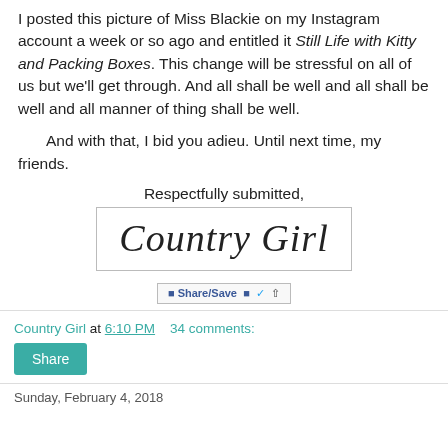I posted this picture of Miss Blackie on my Instagram account a week or so ago and entitled it Still Life with Kitty and Packing Boxes. This change will be stressful on all of us but we'll get through. And all shall be well and all shall be well and all manner of thing shall be well.
And with that, I bid you adieu. Until next time, my friends.
Respectfully submitted,
[Figure (illustration): Cursive script signature reading 'Country Girl' inside a bordered box]
[Figure (screenshot): Share/Save social sharing bar with Facebook, Twitter, and share icons]
Country Girl at 6:10 PM   34 comments:
Share
Sunday, February 4, 2018